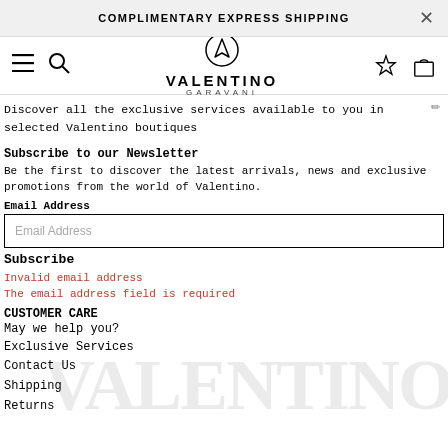COMPLIMENTARY EXPRESS SHIPPING
[Figure (logo): Valentino Garavani logo with V symbol]
Discover all the exclusive services available to you in selected Valentino boutiques
Subscribe to our Newsletter
Be the first to discover the latest arrivals, news and exclusive promotions from the world of Valentino.
Email Address
Email Address
Subscribe
Invalid email address
The email address field is required
CUSTOMER CARE
May we help you?
Exclusive Services
Contact Us
Shipping
Returns
[Figure (logo): Large VALENTINO watermark text in light grey]